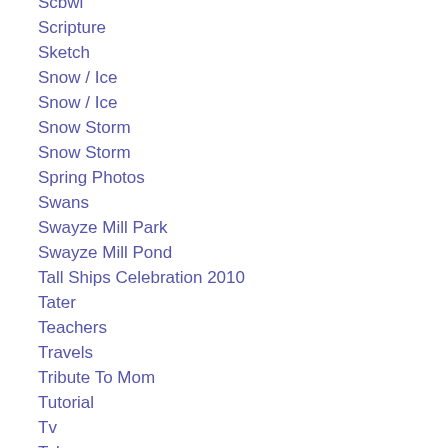Scbwi
Scripture
Sketch
Snow / Ice
Snow / Ice
Snow Storm
Snow Storm
Spring Photos
Swans
Swayze Mill Park
Swayze Mill Pond
Tall Ships Celebration 2010
Tater
Teachers
Travels
Tribute To Mom
Tutorial
Tv
Tyler